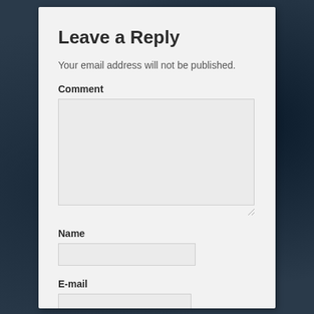Leave a Reply
Your email address will not be published.
Comment
Name
E-mail